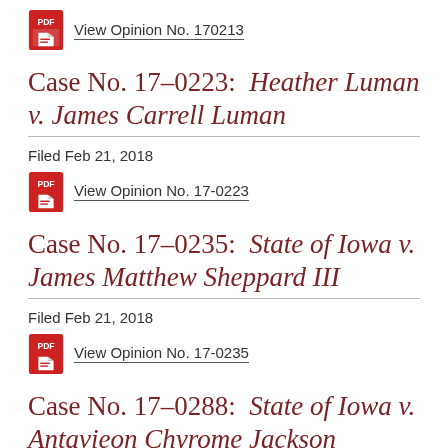[Figure (other): PDF icon link: View Opinion No. 170213]
View Opinion No. 170213
Case No. 17-0223:  Heather Luman v. James Carrell Luman
Filed Feb 21, 2018
[Figure (other): PDF icon link: View Opinion No. 17-0223]
View Opinion No. 17-0223
Case No. 17-0235:  State of Iowa v. James Matthew Sheppard III
Filed Feb 21, 2018
[Figure (other): PDF icon link: View Opinion No. 17-0235]
View Opinion No. 17-0235
Case No. 17-0288:  State of Iowa v. Antavieon Chyrome Jackson